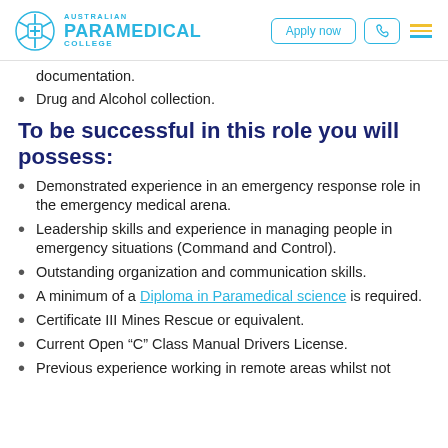Australian Paramedical College — Apply now | Navigation
documentation.
Drug and Alcohol collection.
To be successful in this role you will possess:
Demonstrated experience in an emergency response role in the emergency medical arena.
Leadership skills and experience in managing people in emergency situations (Command and Control).
Outstanding organization and communication skills.
A minimum of a Diploma in Paramedical science is required.
Certificate III Mines Rescue or equivalent.
Current Open "C" Class Manual Drivers License.
Previous experience working in remote areas whilst not...